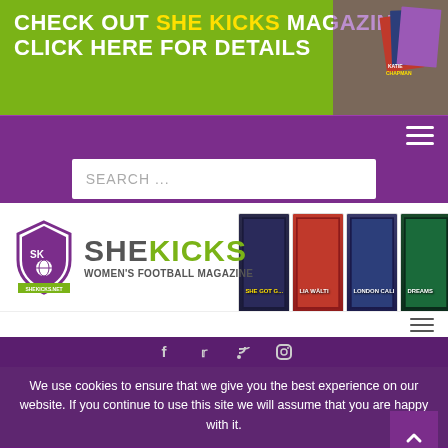[Figure (infographic): Green banner ad: CHECK OUT SHE KICKS MAGAZINE / CLICK HERE FOR DETAILS with magazine cover image on right]
[Figure (infographic): Purple navigation bar with hamburger menu icon on right]
[Figure (infographic): Purple search bar area with white search input box saying SEARCH ...]
[Figure (logo): She Kicks Women's Football Magazine logo with shield emblem and magazine cover stack on right]
[Figure (infographic): White row with dark hamburger/menu icon on right]
[Figure (infographic): Dark purple social icons bar with Facebook, Twitter, RSS, Instagram icons]
We use cookies to ensure that we give you the best experience on our website. If you continue to use this site we will assume that you are happy with it.
HOME > NEWS > CUP NEWS > LEAGUE CUPS > West Ham Ladies Win At Worthing